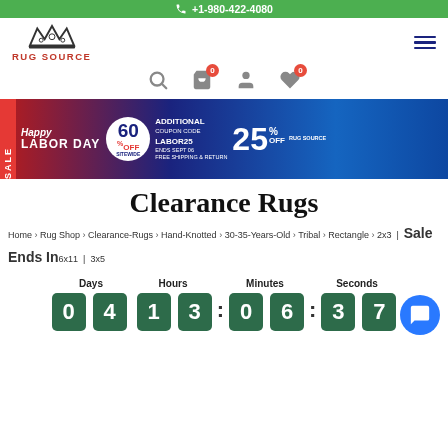+1-980-422-4080
[Figure (logo): Rug Source logo with crown icon and red text]
[Figure (infographic): Happy Labor Day Sale banner: 60% off sitewide, additional 25% off with coupon code LABOR25, free shipping and return]
Clearance Rugs
Home > Rug Shop > Clearance-Rugs > Hand-Knotted > 30-35-Years-Old > Tribal > Rectangle > 2x3 | 6x11 | 3x5
Sale Ends In
Days: 04  Hours: 13  Minutes: 06  Seconds: 37